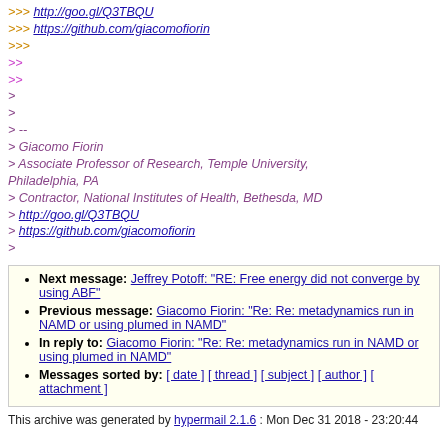>>> http://goo.gl/Q3TBQU
>>> https://github.com/giacomofiorin
>>>
>>
>>
>
>
> --
> Giacomo Fiorin
> Associate Professor of Research, Temple University, Philadelphia, PA
> Contractor, National Institutes of Health, Bethesda, MD
> http://goo.gl/Q3TBQU
> https://github.com/giacomofiorin
>
Next message: Jeffrey Potoff: "RE: Free energy did not converge by using ABF"
Previous message: Giacomo Fiorin: "Re: Re: metadynamics run in NAMD or using plumed in NAMD"
In reply to: Giacomo Fiorin: "Re: Re: metadynamics run in NAMD or using plumed in NAMD"
Messages sorted by: [ date ] [ thread ] [ subject ] [ author ] [ attachment ]
This archive was generated by hypermail 2.1.6 : Mon Dec 31 2018 - 23:20:44 CST